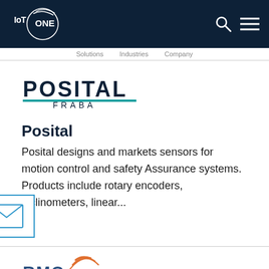IoT ONE - Header Navigation
Posital designs and markets sensors for motion control and safety Assurance systems. Products include rotary encoders, inclinometers, linear...
[Figure (logo): Posital Fraba logo with large bold text POSITAL and smaller text FRABA underneath, with a teal underline beneath POSITAL]
Posital
Posital designs and markets sensors for motion control and safety Assurance systems. Products include rotary encoders, inclinometers, linear...
[Figure (logo): RMC logo partially visible at bottom of page]